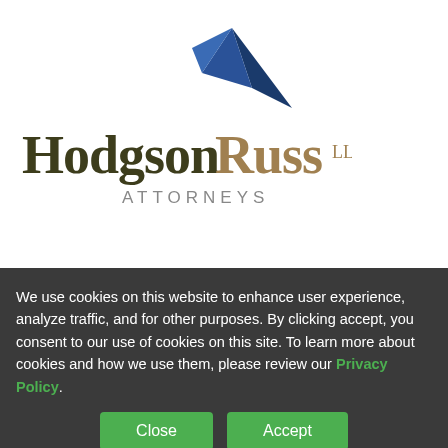[Figure (logo): Hodgson Russ LLP Attorneys logo with blue arrow/triangle above stylized text]
environment
Examine the credits, related lowest price. concrete use
Examine the performance compliance.
Any guidelines ac recommendations resulting from bid
WHY US
PROFESSIONALS
We use cookies on this website to enhance user experience, analyze traffic, and for other purposes. By clicking accept, you consent to our use of cookies on this site. To learn more about cookies and how we use them, please review our Privacy Policy.